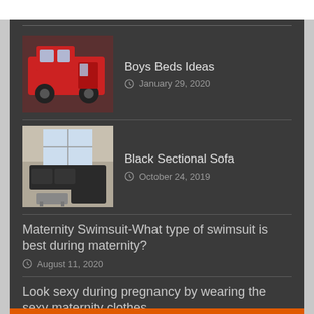Boys Beds Ideas
January 29, 2020
Black Sectional Sofa
October 24, 2019
Maternity Swimsuit-What type of swimsuit is best during maternity?
August 11, 2020
Look sexy during pregnancy by wearing the sexy maternity clothes
May 1, 2020
Leaning Bookshelf
November 22, 2019